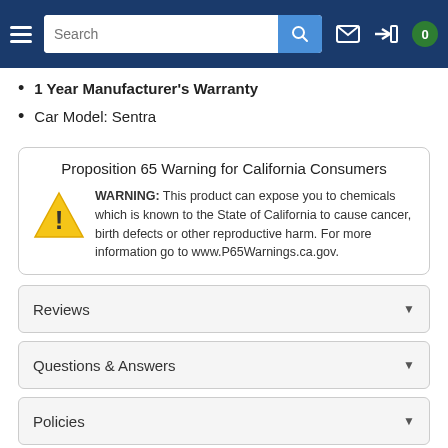Navigation bar with hamburger menu, search field, mail icon, login icon, and cart badge showing 0
1 Year Manufacturer's Warranty
Car Model: Sentra
Proposition 65 Warning for California Consumers
WARNING: This product can expose you to chemicals which is known to the State of California to cause cancer, birth defects or other reproductive harm. For more information go to www.P65Warnings.ca.gov.
Reviews
Questions & Answers
Policies